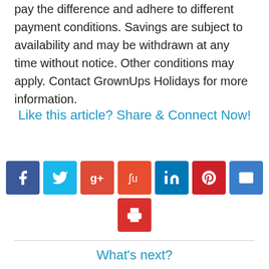pay the difference and adhere to different payment conditions. Savings are subject to availability and may be withdrawn at any time without notice. Other conditions may apply. Contact GrownUps Holidays for more information.
Like this article? Share & Connect Now!
[Figure (other): Social sharing buttons: Facebook, Twitter, Google+, StumbleUpon, LinkedIn, Pinterest, Email, Print]
What's next?